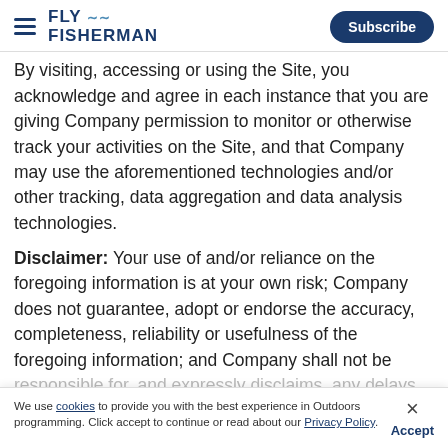FLY FISHERMAN | Subscribe
By visiting, accessing or using the Site, you acknowledge and agree in each instance that you are giving Company permission to monitor or otherwise track your activities on the Site, and that Company may use the aforementioned technologies and/or other tracking, data aggregation and data analysis technologies.
Disclaimer: Your use of and/or reliance on the foregoing information is at your own risk; Company does not guarantee, adopt or endorse the accuracy, completeness, reliability or usefulness of the foregoing information; and Company shall not be responsible for, and expressly disclaims, any delays, failures, interruptions, or corruption of any data or other information transmitted in connection with use of the Site; and shall not be liable for any damages associated with your use of and/or reliance on any of the foregoing information.
We use cookies to provide you with the best experience in Outdoors programming. Click accept to continue or read about our Privacy Policy.